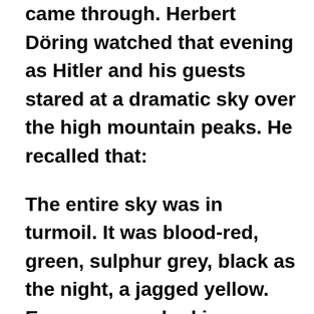came through. Herbert Döring watched that evening as Hitler and his guests stared at a dramatic sky over the high mountain peaks. He recalled that:

The entire sky was in turmoil. It was blood-red, green, sulphur grey, black as the night, a jagged yellow. Everyone was looking horrified – it was intimidating. … Everyone was watching. Without good nerves one could easily have become